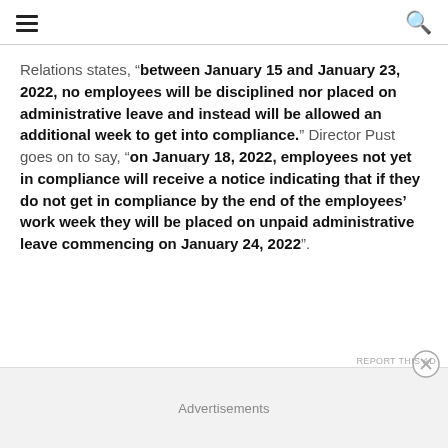≡  🔍
Relations states, "between January 15 and January 23, 2022, no employees will be disciplined nor placed on administrative leave and instead will be allowed an additional week to get into compliance." Director Pust goes on to say, "on January 18, 2022, employees not yet in compliance will receive a notice indicating that if they do not get in compliance by the end of the employees' work week they will be placed on unpaid administrative leave commencing on January 24, 2022".
Advertisements